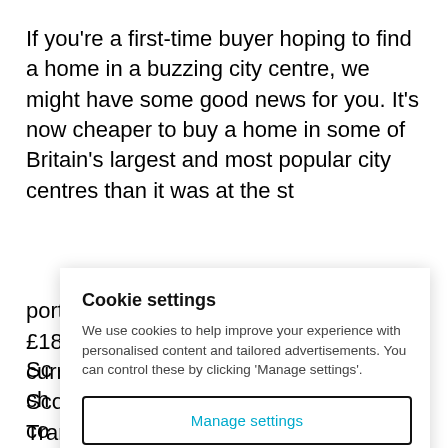If you're a first-time buyer hoping to find a home in a buzzing city centre, we might have some good news for you. It's now cheaper to buy a home in some of Britain's largest and most popular city centres than it was at the st...
[Figure (screenshot): Cookie settings modal dialog overlaying the article text. Contains title 'Cookie settings', descriptive text about cookies, a 'Manage settings' button with border, and an 'Allow all cookies' button with teal background.]
Sc... ch... co...
Al... yo... pr... portion of a property priced above £180,000 from 1st July 2021 (the current threshold is £250,000) and in Scotland, Land and Buildings Transaction Tax applies to first-time